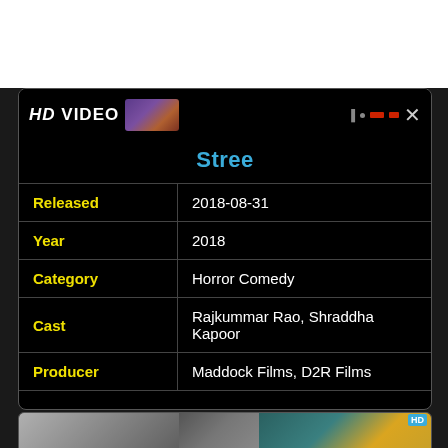[Figure (screenshot): HD VIDEO header bar with thumbnail image and close button]
Stree
| Field | Value |
| --- | --- |
| Released | 2018-08-31 |
| Year | 2018 |
| Category | Horror Comedy |
| Cast | Rajkummar Rao, Shraddha Kapoor |
| Producer | Maddock Films, D2R Films |
[Figure (screenshot): Bottom preview card with partial movie thumbnail images]